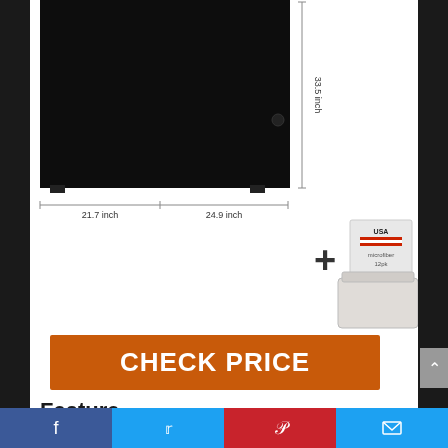[Figure (photo): Black mini fridge/appliance with dimension annotations: 33.5 inch height, 21.7 inch and 24.9 inch width measurements. Also shows a USA brand box of cloths and a clear plastic storage basket, with a plus sign indicating a bundle.]
[Figure (infographic): Orange CHECK PRICE button]
Feature
Removable storage basket for the